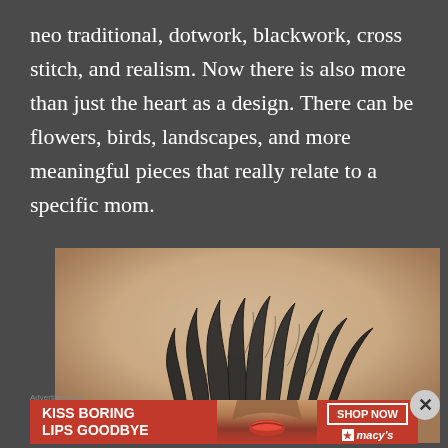neo traditional, dotwork, blackwork, cross stitch, and realism. Now there is also more than just the heart as a design. There can be flowers, birds, landscapes, and more meaningful pieces that really relate to a specific mom.
[Figure (photo): Close-up photo of a tattoo on skin showing a decorative sun/flame design in blackwork style, with multiple flame or feather-like rays radiating outward, rendered in dark ink with fine line shading.]
[Figure (photo): Advertisement banner: red background with 'KISS BORING LIPS GOODBYE' text in white, a woman's face with red lipstick, and a 'SHOP NOW' button with Macy's logo.]